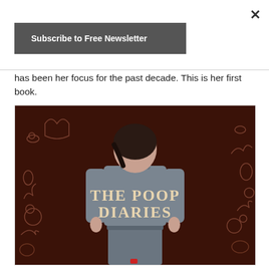×
Subscribe to Free Newsletter
has been her focus for the past decade. This is her first book.
[Figure (photo): Book cover for 'The Poop Diaries' showing a person from behind wearing a gray jacket with the book title written on the back in decorative lettering, against a dark brown background with illustrated figures.]